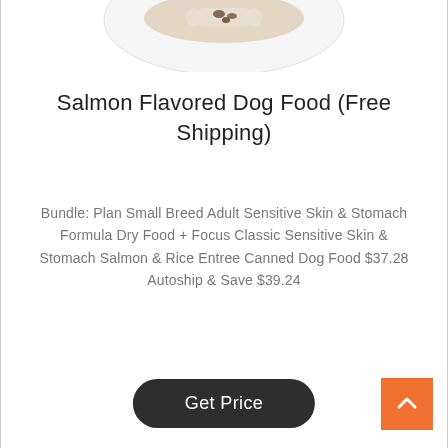[Figure (photo): Partial product image visible at top of page, showing what appears to be a dog food product on a white plate or bowl, cropped at the top edge.]
Salmon Flavored Dog Food (Free Shipping)
Bundle: Plan Small Breed Adult Sensitive Skin & Stomach Formula Dry Food + Focus Classic Sensitive Skin & Stomach Salmon & Rice Entree Canned Dog Food $37.28 Autoship & Save $39.24